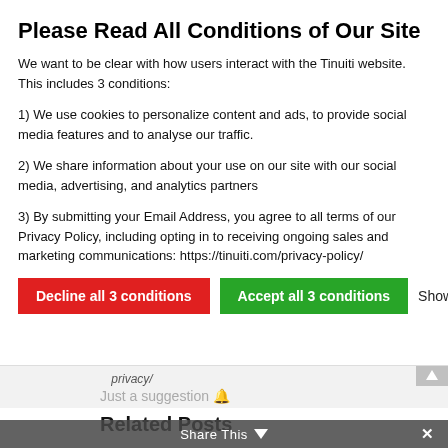Please Read All Conditions of Our Site
We want to be clear with how users interact with the Tinuiti website. This includes 3 conditions:
1) We use cookies to personalize content and ads, to provide social media features and to analyse our traffic.
2) We share information about your use on our site with our social media, advertising, and analytics partners
3) By submitting your Email Address, you agree to all terms of our Privacy Policy, including opting in to receiving ongoing sales and marketing communications: https://tinuiti.com/privacy-policy/
Decline all 3 conditions | Accept all 3 conditions | Show details
Just a suggestion 🔔
Related Posts
Share This